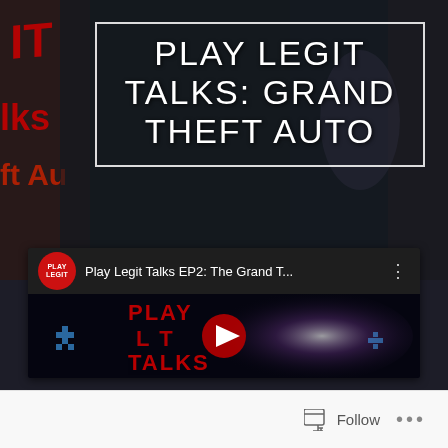[Figure (screenshot): Dark blurred background image showing a Grand Theft Auto game scene with a red GTA logo visible on left side]
PLAY LEGIT TALKS: GRAND THEFT AUTO
[Figure (screenshot): Embedded YouTube video player showing Play Legit Talks EP2: The Grand T... with Play Legit logo circle in header bar and a video thumbnail showing 'PLAY LEGIT TALKS' text in red over a space/galaxy background with a red play button in center]
Follow
...